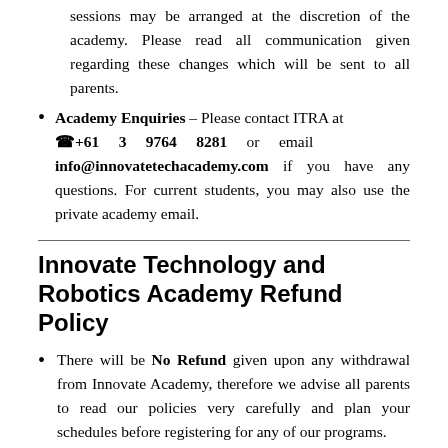sessions may be arranged at the discretion of the academy. Please read all communication given regarding these changes which will be sent to all parents.
Academy Enquiries – Please contact ITRA at ☎ +61 3 9764 8281 or email info@innovatetechacademy.com if you have any questions. For current students, you may also use the private academy email.
Innovate Technology and Robotics Academy Refund Policy
There will be No Refund given upon any withdrawal from Innovate Academy, therefore we advise all parents to read our policies very carefully and plan your schedules before registering for any of our programs.